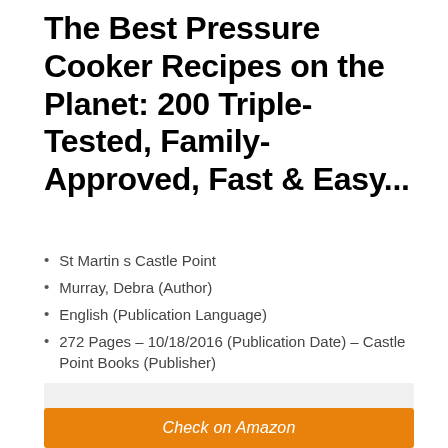The Best Pressure Cooker Recipes on the Planet: 200 Triple-Tested, Family-Approved, Fast & Easy...
St Martin s Castle Point
Murray, Debra (Author)
English (Publication Language)
272 Pages – 10/18/2016 (Publication Date) – Castle Point Books (Publisher)